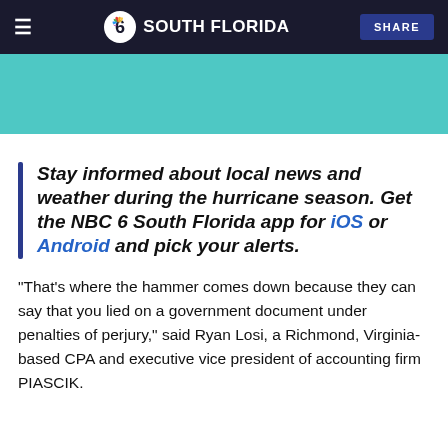NBC 6 South Florida — SHARE
[Figure (other): Teal/turquoise banner image area]
Stay informed about local news and weather during the hurricane season. Get the NBC 6 South Florida app for iOS or Android and pick your alerts.
"That's where the hammer comes down because they can say that you lied on a government document under penalties of perjury," said Ryan Losi, a Richmond, Virginia-based CPA and executive vice president of accounting firm PIASCIK.